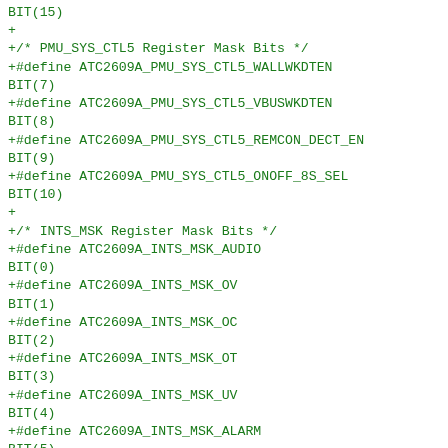BIT(15)
+
+/* PMU_SYS_CTL5 Register Mask Bits */
+#define ATC2609A_PMU_SYS_CTL5_WALLWKDTEN BIT(7)
+#define ATC2609A_PMU_SYS_CTL5_VBUSWKDTEN BIT(8)
+#define ATC2609A_PMU_SYS_CTL5_REMCON_DECT_EN BIT(9)
+#define ATC2609A_PMU_SYS_CTL5_ONOFF_8S_SEL BIT(10)
+
+/* INTS_MSK Register Mask Bits */
+#define ATC2609A_INTS_MSK_AUDIO BIT(0)
+#define ATC2609A_INTS_MSK_OV BIT(1)
+#define ATC2609A_INTS_MSK_OC BIT(2)
+#define ATC2609A_INTS_MSK_OT BIT(3)
+#define ATC2609A_INTS_MSK_UV BIT(4)
+#define ATC2609A_INTS_MSK_ALARM BIT(5)
+#define ATC2609A_INTS_MSK_ONOFF BIT(6)
+#define ATC2609A_INTS_MSK_WKUP BIT(7)
+#define ATC2609A_INTS_MSK_IR BIT(?)